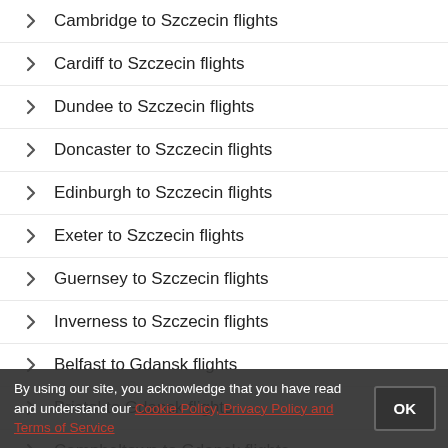Cambridge to Szczecin flights
Cardiff to Szczecin flights
Dundee to Szczecin flights
Doncaster to Szczecin flights
Edinburgh to Szczecin flights
Exeter to Szczecin flights
Guernsey to Szczecin flights
Inverness to Szczecin flights
Belfast to Gdansk flights
Bristol to Gdansk flights
Campbeltown to Gdansk flights
Cambridge to Gdansk flights
Cardiff to Gdansk flights
By using our site, you acknowledge that you have read and understand our Cookie Policy, Privacy Policy and Terms of Service.